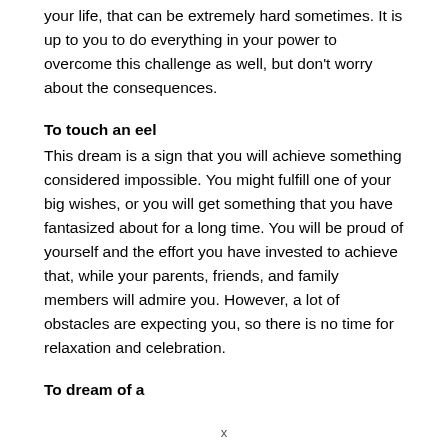your life, that can be extremely hard sometimes. It is up to you to do everything in your power to overcome this challenge as well, but don't worry about the consequences.
To touch an eel
This dream is a sign that you will achieve something considered impossible. You might fulfill one of your big wishes, or you will get something that you have fantasized about for a long time. You will be proud of yourself and the effort you have invested to achieve that, while your parents, friends, and family members will admire you. However, a lot of obstacles are expecting you, so there is no time for relaxation and celebration.
To dream of a dead eel
x